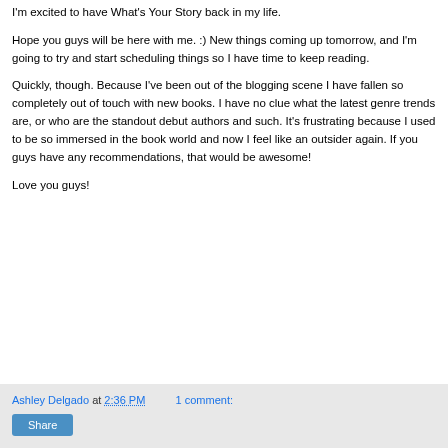I'm excited to have What's Your Story back in my life.
Hope you guys will be here with me. :) New things coming up tomorrow, and I'm going to try and start scheduling things so I have time to keep reading.
Quickly, though. Because I've been out of the blogging scene I have fallen so completely out of touch with new books. I have no clue what the latest genre trends are, or who are the standout debut authors and such. It's frustrating because I used to be so immersed in the book world and now I feel like an outsider again. If you guys have any recommendations, that would be awesome!
Love you guys!
Ashley Delgado at 2:36 PM    1 comment: